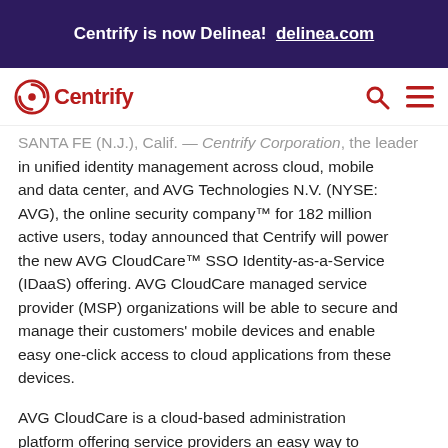Centrify is now Delinea!  delinea.com
[Figure (logo): Centrify logo with search and menu icons in navigation bar]
SANTA FE (N.J.), Calif. — Centrify Corporation, the leader in unified identity management across cloud, mobile and data center, and AVG Technologies N.V. (NYSE: AVG), the online security company™ for 182 million active users, today announced that Centrify will power the new AVG CloudCare™ SSO Identity-as-a-Service (IDaaS) offering. AVG CloudCare managed service provider (MSP) organizations will be able to secure and manage their customers' mobile devices and enable easy one-click access to cloud applications from these devices.
AVG CloudCare is a cloud-based administration platform offering service providers an easy way to implement and manage IT services for business (SMB)